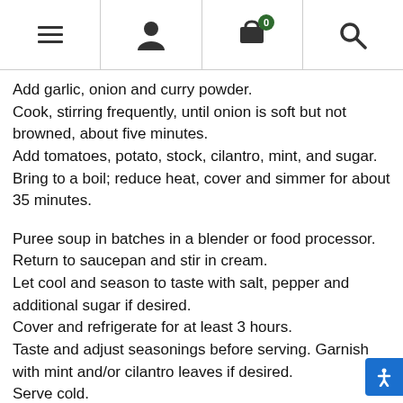Navigation header with menu, user, cart (0), and search icons
Add garlic, onion and curry powder.
Cook, stirring frequently, until onion is soft but not browned, about five minutes.
Add tomatoes, potato, stock, cilantro, mint, and sugar.
Bring to a boil; reduce heat, cover and simmer for about 35 minutes.
Puree soup in batches in a blender or food processor.
Return to saucepan and stir in cream.
Let cool and season to taste with salt, pepper and additional sugar if desired.
Cover and refrigerate for at least 3 hours.
Taste and adjust seasonings before serving. Garnish with mint and/or cilantro leaves if desired.
Serve cold.
Green Tomatoes with Goat Cheese